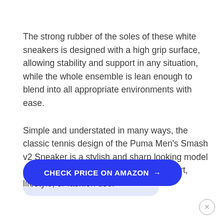The strong rubber of the soles of these white sneakers is designed with a high grip surface, allowing stability and support in any situation, while the whole ensemble is lean enough to blend into all appropriate environments with ease.
Simple and understated in many ways, the classic tennis design of the Puma Men's Smash v2 Sneaker is a stylish and sharp looking model of white sneakers that works well for sport, lifestyle, or fashion use.
CHECK PRICE ON AMAZON →